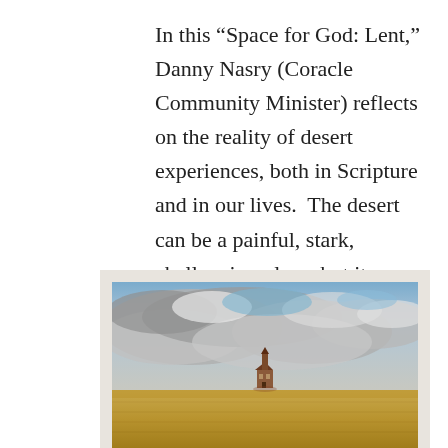In this “Space for God: Lent,” Danny Nasry (Coracle Community Minister) reflects on the reality of desert experiences, both in Scripture and in our lives.  The desert can be a painful, stark, challenging place, but it can also be a place of great beauty...
[Figure (photo): A wide-angle landscape photograph showing a vast golden wheat field under a dramatic cloudy sky. In the center of the field stands a small, isolated church or chapel building. The sky is filled with grey and white clouds with patches of blue. The photograph is mounted on a light beige/grey background mat.]